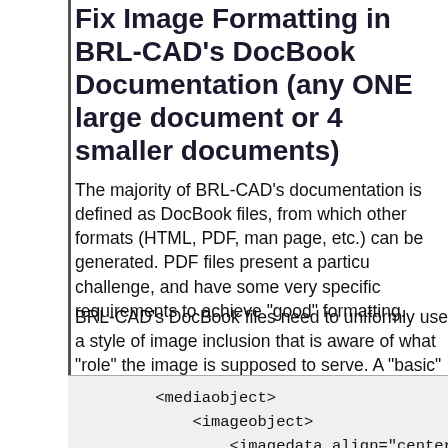Fix Image Formatting in BRL-CAD's DocBook Documentation (any ONE large document or 4 smaller documents)
The majority of BRL-CAD's documentation is defined as DocBook files, from which other formats (HTML, PDF, man page, etc.) can be generated. PDF files present a particular challenge, and have some very specific requirements to achieve "good" formatting.
BRL-CAD's DocBook files need to uniformly use a style of image inclusion that is aware of what "role" the image is supposed to serve. A "basic" image inclusion example looks like this:
<mediaobject>
    <imageobject>
        <imagedata align="center"
fileref="../../lessons/en/images/img.png"
format="PNG"/>
    </imageobject>